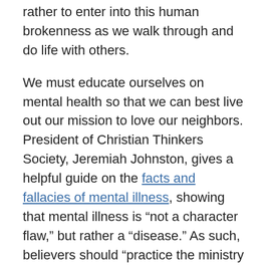rather to enter into this human brokenness as we walk through and do life with others.
We must educate ourselves on mental health so that we can best live out our mission to love our neighbors. President of Christian Thinkers Society, Jeremiah Johnston, gives a helpful guide on the facts and fallacies of mental illness, showing that mental illness is “not a character flaw,” but rather a “disease.” As such, believers should “practice the ministry of presence with those who are hurting.” We must acknowledge the power of prayer and actively pray for others in addition to helping and encouraging them to find suitable treatment for their condition.
Instead of seeing prayer as something to fall back on when all else fails, we should look to it as our first